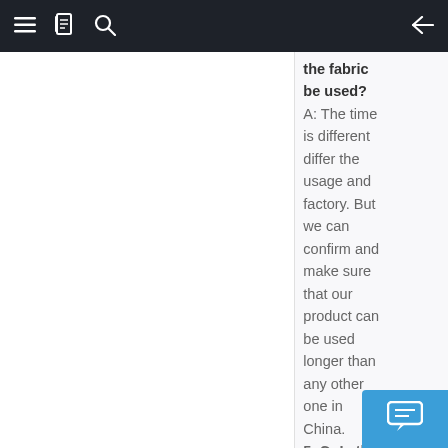≡  [book icon]  🔍  ←
the fabric be used?
A: The time is different differ the usage and factory. But we can confirm and make sure that our product can be used longer than any other one in China.
5. Q: Is th...